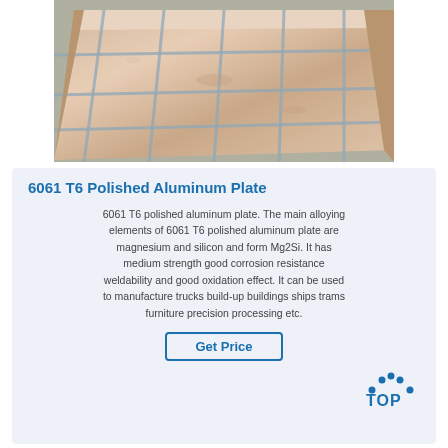[Figure (photo): Photo of 6061 T6 polished aluminum plates stacked and strapped with metal banding in a warehouse or factory setting, viewed from an angle showing multiple large rectangular sheets.]
6061 T6 Polished Aluminum Plate
6061 T6 polished aluminum plate. The main alloying elements of 6061 T6 polished aluminum plate are magnesium and silicon and form Mg2Si. It has medium strength good corrosion resistance weldability and good oxidation effect. It can be used to manufacture trucks build-up buildings ships trams furniture precision processing etc.
[Figure (logo): TOP logo with blue dots arranged in an arc above the text TOP in blue letters]
Get Price